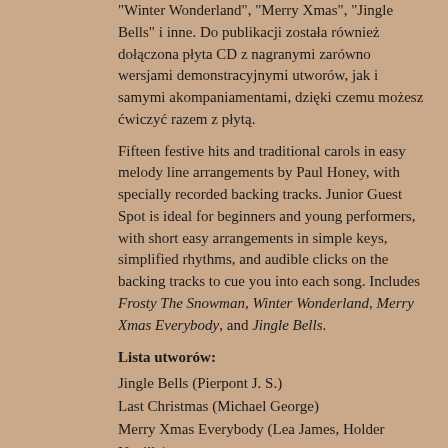"Winter Wonderland", "Merry Xmas", "Jingle Bells" i inne. Do publikacji została również dołączona płyta CD z nagranymi zarówno wersjami demonstracyjnymi utworów, jak i samymi akompaniamentami, dzięki czemu możesz ćwiczyć razem z płytą.
Fifteen festive hits and traditional carols in easy melody line arrangements by Paul Honey, with specially recorded backing tracks. Junior Guest Spot is ideal for beginners and young performers, with short easy arrangements in simple keys, simplified rhythms, and audible clicks on the backing tracks to cue you into each song. Includes Frosty The Snowman, Winter Wonderland, Merry Xmas Everybody, and Jingle Bells.
Lista utworów:
Jingle Bells (Pierpont J. S.)
Last Christmas (Michael George)
Merry Xmas Everybody (Lea James, Holder Neville)
Mistletoe And Wine (Strachan Keith)
O Little Town Of Bethlehem (Redner Lewis)
Silent Night (Gruber Franz)
Stop The Cavalry (Lewie Jona)
Winter Wonderland (Bernard Felix)
Away In A Manger (Kirkpatrick William)